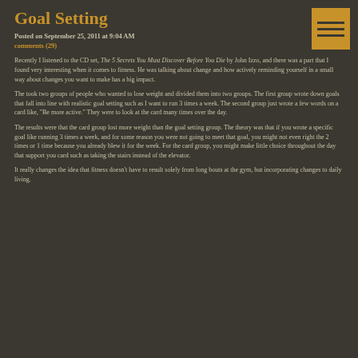Goal Setting
Posted on September 25, 2011 at 9:04 AM
comments (29)
[Figure (other): Hamburger menu icon — three horizontal lines on an orange/gold background square]
Recently I listened to the CD set, The 5 Secrets You Must Discover Before You Die by John Izzo, and there was a part that I found very interesting when it comes to fitness. He was talking about change and how actively reminding yourself in a small way about changes you want to make has a big impact.
The took two groups of people who wanted to lose weight and divided them into two groups. The first group wrote down goals that fall into line with realistic goal setting such as I want to run 3 times a week. The second group just wrote a few words on a card like, "Be more active." They were to look at the card many times over the day.
The results were that the card group lost more weight than the goal setting group. The theory was that if you wrote a specific goal like running 3 times a week, and for some reason you were not going to meet that goal, you might not even right the 2 times or 1 time because you already blew it for the week. For the card group, you might make little choice throughout the day that support you card such as taking the stairs instead of the elevator.
It really changes the idea that fitness doesn't have to result solely from long bouts at the gym, but incorporating changes to daily living.